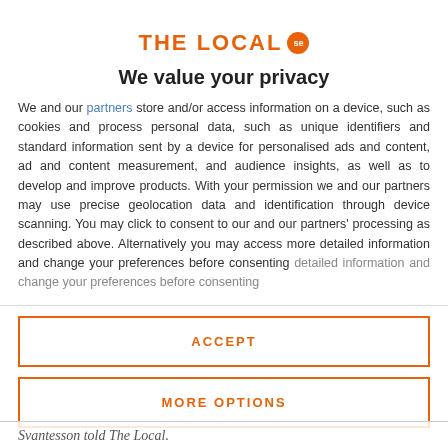[Figure (logo): THE LOCAL se logo in orange with a circular badge]
We value your privacy
We and our partners store and/or access information on a device, such as cookies and process personal data, such as unique identifiers and standard information sent by a device for personalised ads and content, ad and content measurement, and audience insights, as well as to develop and improve products. With your permission we and our partners may use precise geolocation data and identification through device scanning. You may click to consent to our and our partners' processing as described above. Alternatively you may access more detailed information and change your preferences before consenting
ACCEPT
MORE OPTIONS
Svantesson told The Local.